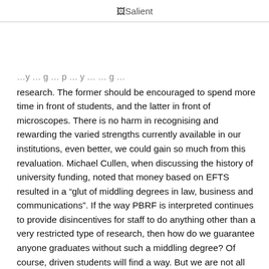Salient
research. The former should be encouraged to spend more time in front of students, and the latter in front of microscopes. There is no harm in recognising and rewarding the varied strengths currently available in our institutions, even better, we could gain so much from this revaluation. Michael Cullen, when discussing the history of university funding, noted that money based on EFTS resulted in a “glut of middling degrees in law, business and communications”. If the way PBRF is interpreted continues to provide disincentives for staff to do anything other than a very restricted type of research, then how do we guarantee anyone graduates without such a middling degree? Of course, driven students will find a way. But we are not all here to be academics, and under this current sway of restrictive thinking, thinking and acting outside of this insular, at times pathetically so, world, is becoming less and less popular.